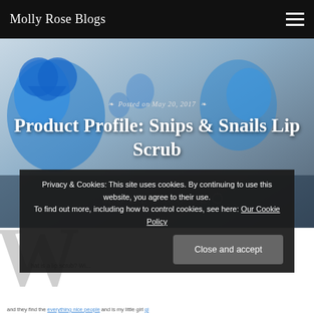Molly Rose Blogs
[Figure (photo): Hero banner image showing blue translucent decorative shapes/figurines (snails/flowers) on a light grey-blue background with 'MollyRose' watermark text at bottom]
Posted on May 20, 2017
Product Profile: Snips & Snails Lip Scrub
W... (drop cap, body text partially obscured by cookie banner)
Privacy & Cookies: This site uses cookies. By continuing to use this website, you agree to their use.
To find out more, including how to control cookies, see here: Our Cookie Policy
Close and accept
and they find the everything nice people and is my little girl...